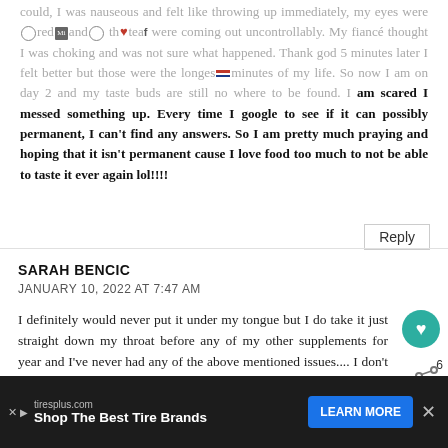could, I was nauseous and felt like throwing up immediately, my eyes were red and the tears were coming out uncontrollably. My fiancé thought I was choking and was not sure what happened. Thank god 5 minutes later I felt better but those were the longest minutes of my life. So now I am on day 2 and my taste buds are still no where to be found. I am scared I messed something up. Every time I google to see if it can possibly permanent, I can't find any answers. So I am pretty much praying and hoping that it isn't permanent cause I love food too much to not be able to taste it ever again lol!!!!
Reply
SARAH BENCIC
JANUARY 10, 2022 AT 7:47 AM
I definitely would never put it under my tongue but I do take it just straight down my throat before any of my other supplements for years and I've never had any of the above mentioned issues.... I don't get colds or sick but I wouldn't say it's because of that, just the combination of healthy living, eating and extra supplements
[Figure (screenshot): Advertisement bar at bottom: tiresplus.com - Shop The Best Tire Brands with LEARN MORE button]